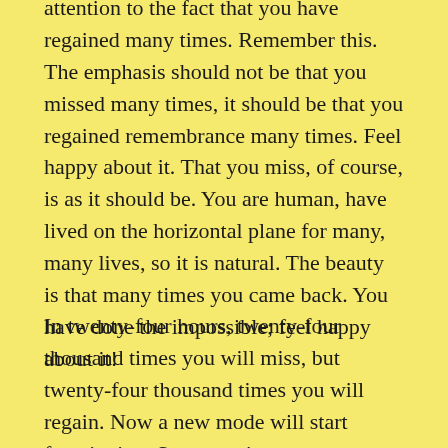attention to the fact that you have regained many times. Remember this. The emphasis should not be that you missed many times, it should be that you regained remembrance many times. Feel happy about it. That you miss, of course, is as it should be. You are human, have lived on the horizontal plane for many, many lives, so it is natural. The beauty is that many times you came back. You have done the impossible; feel happy about it!
In twenty-four hours, twenty-four thousand times you will miss, but twenty-four thousand times you will regain. Now a new mode will start functioning. So many times you come back home, now a new dimension is breaking in…